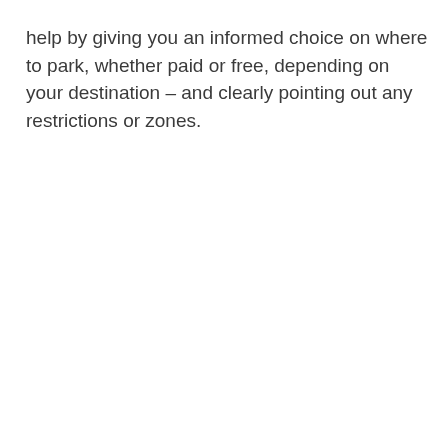help by giving you an informed choice on where to park, whether paid or free, depending on your destination – and clearly pointing out any restrictions or zones.